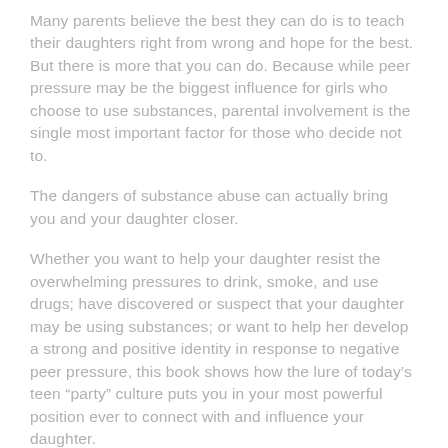Many parents believe the best they can do is to teach their daughters right from wrong and hope for the best. But there is more that you can do. Because while peer pressure may be the biggest influence for girls who choose to use substances, parental involvement is the single most important factor for those who decide not to.
The dangers of substance abuse can actually bring you and your daughter closer.
Whether you want to help your daughter resist the overwhelming pressures to drink, smoke, and use drugs; have discovered or suspect that your daughter may be using substances; or want to help her develop a strong and positive identity in response to negative peer pressure, this book shows how the lure of today's teen “party” culture puts you in your most powerful position ever to connect with and influence your daughter.